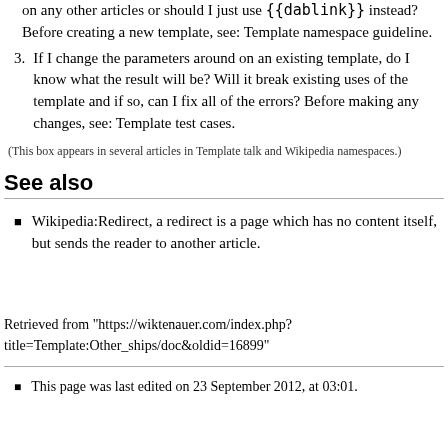on any other articles or should I just use {{dablink}} instead? Before creating a new template, see: Template namespace guideline.
If I change the parameters around on an existing template, do I know what the result will be? Will it break existing uses of the template and if so, can I fix all of the errors? Before making any changes, see: Template test cases.
(This box appears in several articles in Template talk and Wikipedia namespaces.)
See also
Wikipedia:Redirect, a redirect is a page which has no content itself, but sends the reader to another article.
Retrieved from "https://wiktenauer.com/index.php?title=Template:Other_ships/doc&oldid=16899"
This page was last edited on 23 September 2012, at 03:01.